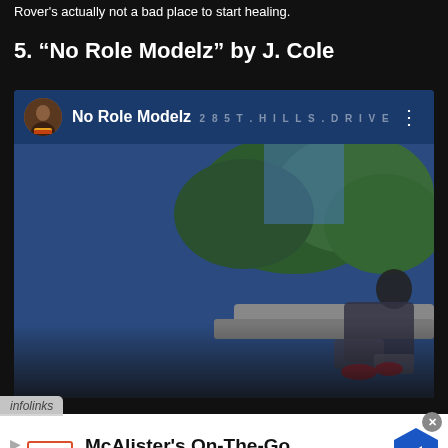Rover's actually not a bad place to start healing.
5. “No Role Modelz” by J. Cole
[Figure (screenshot): YouTube/music player screenshot showing 'No Role Modelz' video by J. Cole with album art thumbnail, avatar, title bar, and play button overlay]
infolinks
[Figure (screenshot): Advertisement banner for McAlister's On-The-Go / McAlister's Deli with logo, play icon, close button, and navigation arrow icon]